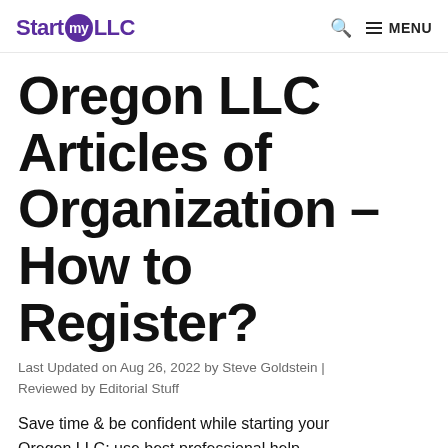Start my LLC | MENU
Oregon LLC Articles of Organization – How to Register?
Last Updated on Aug 26, 2022 by Steve Goldstein | Reviewed by Editorial Stuff
Save time & be confident while starting your Oregon LLC; use best professional help -